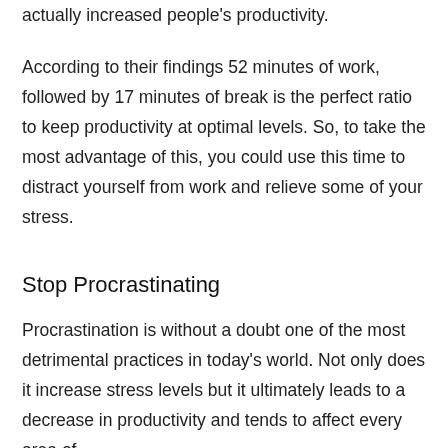actually increased people's productivity.
According to their findings 52 minutes of work, followed by 17 minutes of break is the perfect ratio to keep productivity at optimal levels. So, to take the most advantage of this, you could use this time to distract yourself from work and relieve some of your stress.
Stop Procrastinating
Procrastination is without a doubt one of the most detrimental practices in today's world. Not only does it increase stress levels but it ultimately leads to a decrease in productivity and tends to affect every area of